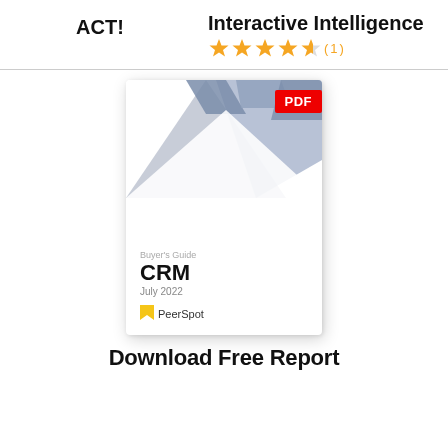ACT!
Interactive Intelligence
[Figure (other): 4.5 star rating (1 review) shown as gold stars with review count (1)]
[Figure (illustration): PeerSpot Buyer's Guide PDF booklet cover for CRM July 2022, with geometric blue/grey shapes at top, PDF badge in red top-right, PeerSpot logo at bottom.]
Download Free Report